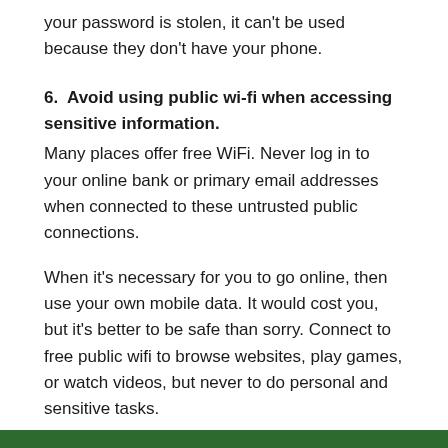your password is stolen, it can't be used because they don't have your phone.
6. Avoid using public wi-fi when accessing sensitive information.
Many places offer free WiFi. Never log in to your online bank or primary email addresses when connected to these untrusted public connections.
When it's necessary for you to go online, then use your own mobile data. It would cost you, but it's better to be safe than sorry. Connect to free public wifi to browse websites, play games, or watch videos, but never to do personal and sensitive tasks.